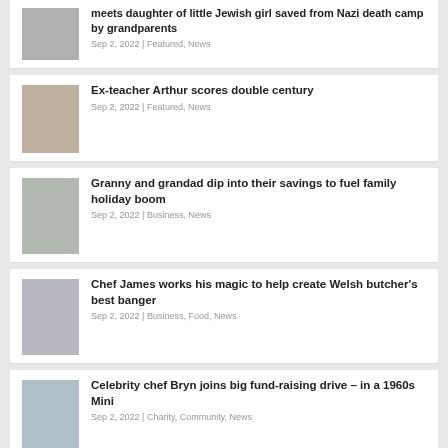meets daughter of little Jewish girl saved from Nazi death camp by grandparents
Sep 2, 2022 | Featured, News
Ex-teacher Arthur scores double century
Sep 2, 2022 | Featured, News
Granny and grandad dip into their savings to fuel family holiday boom
Sep 2, 2022 | Business, News
Chef James works his magic to help create Welsh butcher's best banger
Sep 2, 2022 | Business, Food, News
Celebrity chef Bryn joins big fund-raising drive – in a 1960s Mini
Sep 2, 2022 | Charity, Community, News